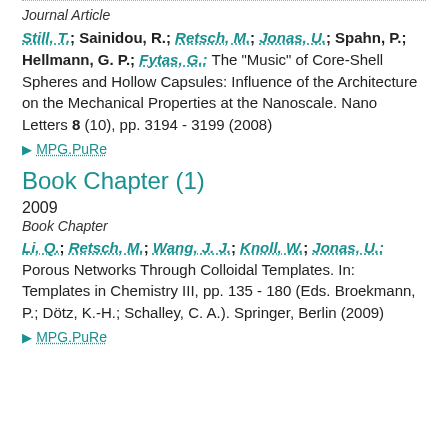Journal Article
Still, T.; Sainidou, R.; Retsch, M.; Jonas, U.; Spahn, P.; Hellmann, G. P.; Fytas, G.: The "Music" of Core-Shell Spheres and Hollow Capsules: Influence of the Architecture on the Mechanical Properties at the Nanoscale. Nano Letters 8 (10), pp. 3194 - 3199 (2008)
MPG.PuRe
Book Chapter (1)
2009
Book Chapter
Li, Q.; Retsch, M.; Wang, J. J.; Knoll, W.; Jonas, U.: Porous Networks Through Colloidal Templates. In: Templates in Chemistry III, pp. 135 - 180 (Eds. Broekmann, P.; Dötz, K.-H.; Schalley, C. A.). Springer, Berlin (2009)
MPG.PuRe